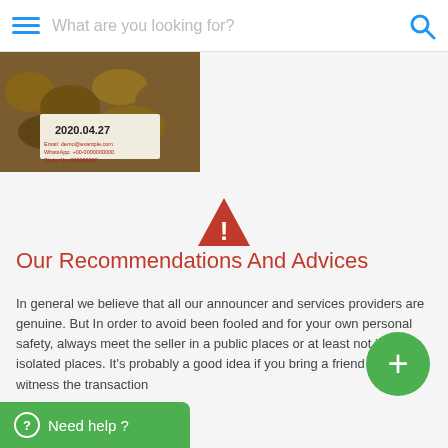What are you looking for?
[Figure (photo): A product photo showing dried goods/roots with a label showing date 2020.04.27 and contact information]
[Figure (illustration): Red warning triangle icon with exclamation mark]
Our Recommendations And Advices
In general we believe that all our announcer and services providers are genuine. But In order to avoid been fooled and for your own personal safety, always meet the seller in a public places or at least not in isolated places. It's probably a good idea if you bring a friend as well to witness the transaction
[Figure (illustration): Green circular FAB button with plus sign]
[Figure (illustration): Green 'Need help ?' button with question mark icon]